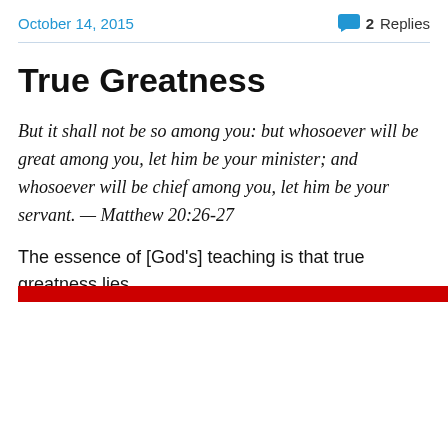October 14, 2015   💬 2 Replies
True Greatness
But it shall not be so among you: but whosoever will be great among you, let him be your minister; and whosoever will be chief among you, let him be your servant. — Matthew 20:26-27
The essence of [God's] teaching is that true greatness lies
Privacy & Cookies: This site uses cookies. By continuing to use this website, you agree to their use.
To find out more, including how to control cookies, see here: Cookie Policy